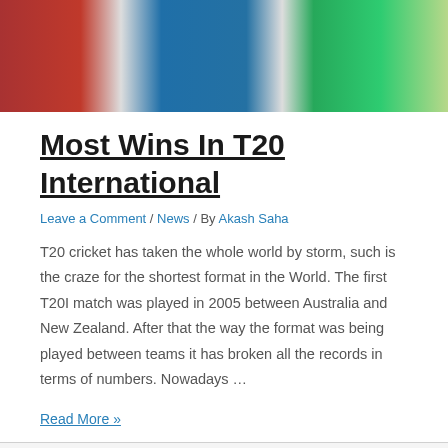[Figure (photo): Cricket players wearing colorful jerseys (red, blue, green/teal) - partial view of their upper bodies]
Most Wins In T20 International
Leave a Comment / News / By Akash Saha
T20 cricket has taken the whole world by storm, such is the craze for the shortest format in the World. The first T20I match was played in 2005 between Australia and New Zealand. After that the way the format was being played between teams it has broken all the records in terms of numbers. Nowadays …
Read More »